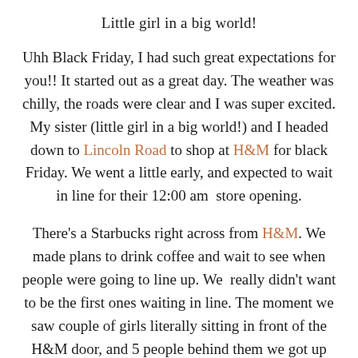Little girl in a big world!
Uhh Black Friday, I had such great expectations for you!! It started out as a great day. The weather was chilly, the roads were clear and I was super excited. My sister (little girl in a big world!) and I headed down to Lincoln Road to shop at H&M for black Friday. We went a little early, and expected to wait in line for their 12:00 am  store opening.
There's a Starbucks right across from H&M. We made plans to drink coffee and wait to see when people were going to line up. We  really didn't want to be the first ones waiting in line. The moment we saw couple of girls literally sitting in front of the H&M door, and 5 people behind them we got up